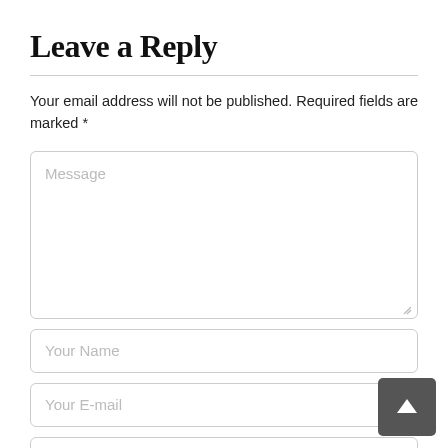Leave a Reply
Your email address will not be published. Required fields are marked *
[Figure (other): Message textarea input box with placeholder text 'Message' and resize handle]
[Figure (other): Your Name text input field]
[Figure (other): Your E-mail text input field]
[Figure (other): Fourth text input field (partially visible at bottom)]
[Figure (other): Dark grey scroll-to-top button with upward arrow icon, positioned bottom-right]